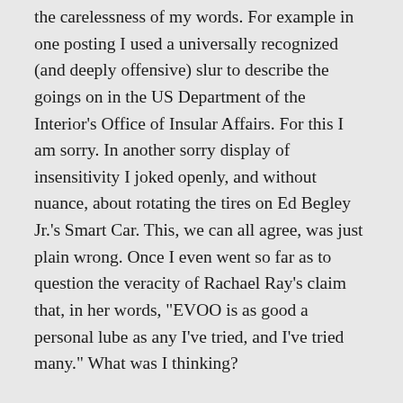the carelessness of my words. For example in one posting I used a universally recognized (and deeply offensive) slur to describe the goings on in the US Department of the Interior’s Office of Insular Affairs. For this I am sorry. In another sorry display of insensitivity I joked openly, and without nuance, about rotating the tires on Ed Begley Jr.’s Smart Car. This, we can all agree, was just plain wrong. Once I even went so far as to question the veracity of Rachael Ray’s claim that, in her words, “EVOO is as good a personal lube as any I’ve tried, and I’ve tried many.” What was I thinking?
These things cannot be taken back, of course, but I hope that my sincere contrition, at the very least, might in some way mitigate the damage I have willfully caused.